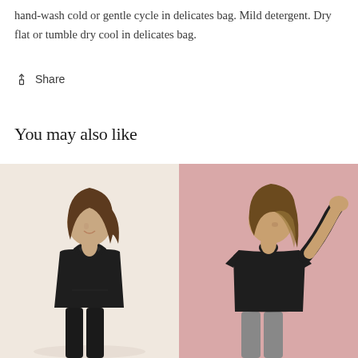hand-wash cold or gentle cycle in delicates bag. Mild detergent. Dry flat or tumble dry cool in delicates bag.
Share
You may also like
[Figure (photo): Woman wearing a black racerback tank top, smiling, standing in front of a warm beige/cream background. Long brown hair, black pants.]
[Figure (photo): Woman wearing a black short-sleeve t-shirt, looking down with one hand in hair, standing in front of a pink background. Wavy brown hair, grey pants.]